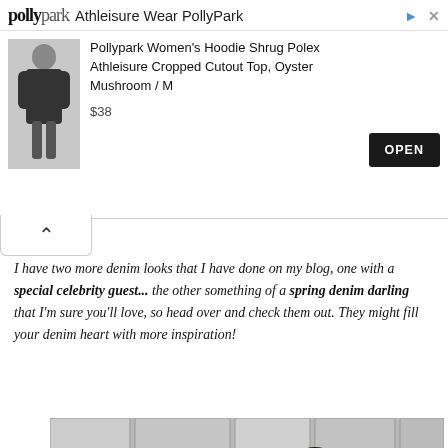[Figure (screenshot): Advertisement banner for Pollypark Athleisure Wear. Shows logo, product image of a woman in a black dress/top, product title 'Pollypark Women's Hoodie Shrug Polex Athleisure Cropped Cutout Top, Oyster Mushroom / M', price $38, and an OPEN button.]
I have two more denim looks that I have done on my blog, one with a special celebrity guest... the other something of a spring denim darling that I'm sure you'll love, so head over and check them out. They might fill your denim heart with more inspiration!
[Figure (photo): Black and white photo of a young woman with curly dark hair wearing a denim jacket, standing in front of a stone/brick wall. The photo is partially cropped at the bottom.]